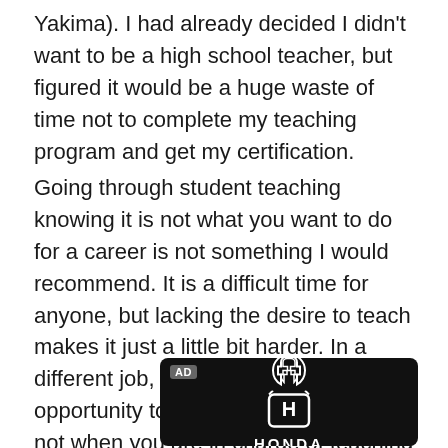Yakima). I had already decided I didn't want to be a high school teacher, but figured it would be a huge waste of time not to complete my teaching program and get my certification.
Going through student teaching knowing it is not what you want to do for a career is not something I would recommend. It is a difficult time for anyone, but lacking the desire to teach makes it just a little bit harder. In a different job, you might have the opportunity to check out for a while, but not when you are in charge of teaching 120 impressionable high school students. I still had to show up, smile, and make those kids learn.
[Figure (other): Honda advertisement banner with black background showing the Honda H logo and HONDA text in white]